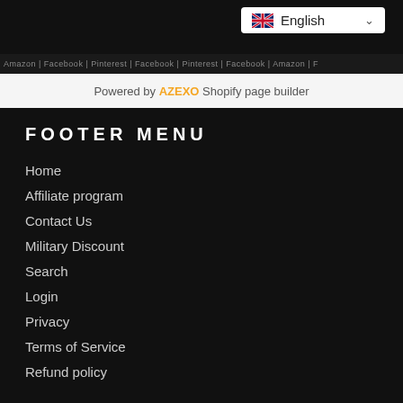English
Powered by AZEXO Shopify page builder
FOOTER MENU
Home
Affiliate program
Contact Us
Military Discount
Search
Login
Privacy
Terms of Service
Refund policy